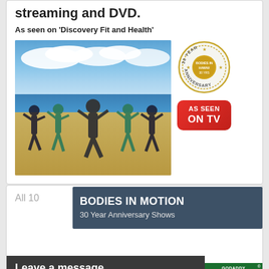streaming and DVD.
As seen on 'Discovery Fit and Health'
[Figure (photo): Group of people exercising on a beach with arms raised, with blue sky and sea behind them. Also shows a 30 Year Anniversary badge and an 'AS SEEN ON TV' red badge.]
All 10
[Figure (infographic): Dark blue-gray banner reading 'BODIES IN MOTION 30 Year Anniversary Shows']
Leave a message
[Figure (logo): GoDaddy Verified & Secured badge]